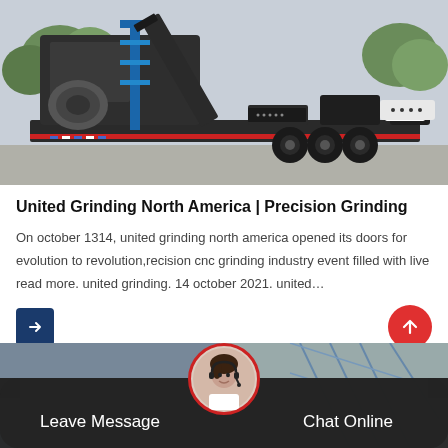[Figure (photo): Mobile crushing/grinding machine on a flatbed trailer, heavy industrial equipment, dark grey, outdoors with trees in background.]
United Grinding North America | Precision Grinding
On october 1314, united grinding north america opened its doors for evolution to revolution,recision cnc grinding industry event filled with live read more. united grinding. 14 october 2021. united…
[Figure (photo): Bottom section showing a customer service representative avatar with headset, 'Leave Message' button on left and 'Chat Online' button on right, dark rounded bar at bottom.]